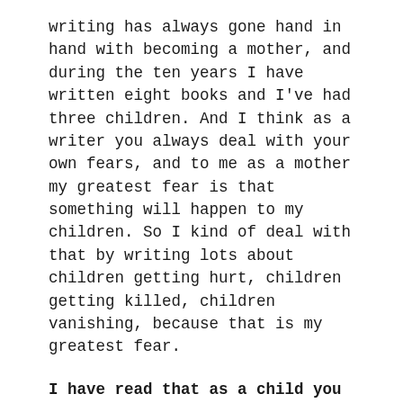writing has always gone hand in hand with becoming a mother, and during the ten years I have written eight books and I've had three children. And I think as a writer you always deal with your own fears, and to me as a mother my greatest fear is that something will happen to my children. So I kind of deal with that by writing lots about children getting hurt, children getting killed, children vanishing, because that is my greatest fear.
I have read that as a child you were influenced by authors such as Agatha Christie – what authors influence your writing at the moment? Who is on your bookshelf?